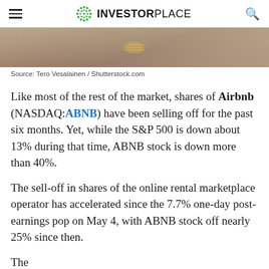INVESTORPLACE
[Figure (photo): Close-up photo of a person holding a gold zipper bag, beige/tan tones, partial view]
Source: Tero Vesalainen / Shutterstock.com
Like most of the rest of the market, shares of Airbnb (NASDAQ:ABNB) have been selling off for the past six months. Yet, while the S&P 500 is down about 13% during that time, ABNB stock is down more than 40%.
The sell-off in shares of the online rental marketplace operator has accelerated since the 7.7% one-day post-earnings pop on May 4, with ABNB stock off nearly 25% since then.
The...